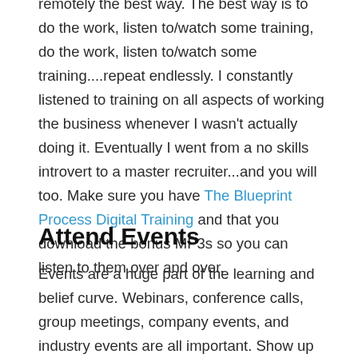remotely the best way. The best way is to do the work, listen to/watch some training, do the work, listen to/watch some training....repeat endlessly. I constantly listened to training on all aspects of working the business whenever I wasn't actually doing it. Eventually I went from a no skills introvert to a master recruiter...and you will too. Make sure you have The Blueprint Process Digital Training and that you download the bonus MP3s so you can listen to them over and over.
Attend Events
Events are a huge part of the learning and belief curve. Webinars, conference calls, group meetings, company events, and industry events are all important. Show up and they will help you and your teams. I went to everything...and most successful